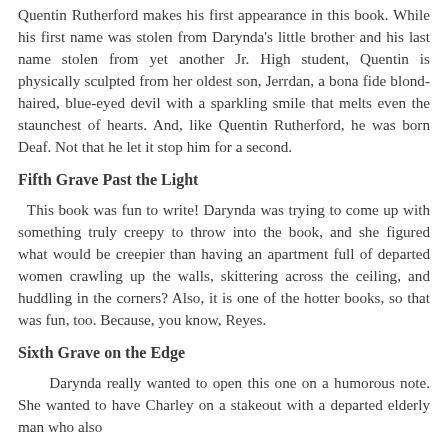Quentin Rutherford makes his first appearance in this book. While his first name was stolen from Darynda's little brother and his last name stolen from yet another Jr. High student, Quentin is physically sculpted from her oldest son, Jerrdan, a bona fide blond-haired, blue-eyed devil with a sparkling smile that melts even the staunchest of hearts. And, like Quentin Rutherford, he was born Deaf. Not that he let it stop him for a second.
Fifth Grave Past the Light
This book was fun to write! Darynda was trying to come up with something truly creepy to throw into the book, and she figured what would be creepier than having an apartment full of departed women crawling up the walls, skittering across the ceiling, and huddling in the corners? Also, it is one of the hotter books, so that was fun, too. Because, you know, Reyes.
Sixth Grave on the Edge
Darynda really wanted to open this one on a humorous note. She wanted to have Charley on a stakeout with a departed elderly man who also